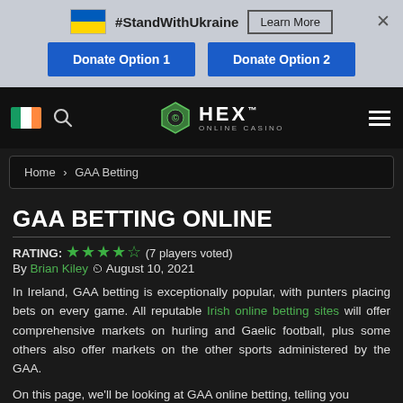#StandWithUkraine  Learn More  ×  Donate Option 1  Donate Option 2
[Figure (logo): HEX Online Casino logo with Irish flag and search icon in dark navigation bar]
Home › GAA Betting
GAA BETTING ONLINE
RATING: ★★★★★ (7 players voted)
By Brian Kiley  August 10, 2021
In Ireland, GAA betting is exceptionally popular, with punters placing bets on every game. All reputable Irish online betting sites will offer comprehensive markets on hurling and Gaelic football, plus some others also offer markets on the other sports administered by the GAA.
On this page, we'll be looking at GAA online betting, telling you